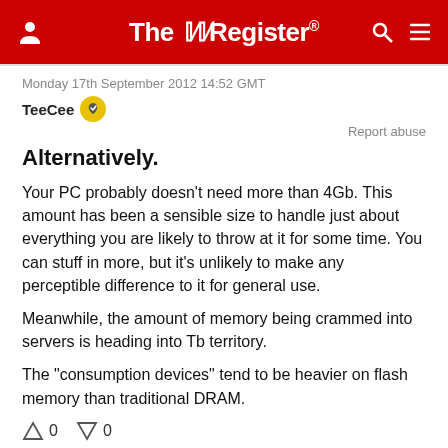The Register
Monday 17th September 2012 14:52 GMT
TeeCee
Report abuse
Alternatively.
Your PC probably doesn't need more than 4Gb. This amount has been a sensible size to handle just about everything you are likely to throw at it for some time. You can stuff in more, but it's unlikely to make any perceptible difference to it for general use.
Meanwhile, the amount of memory being crammed into servers is heading into Tb territory.
The "consumption devices" tend to be heavier on flash memory than traditional DRAM.
0  0